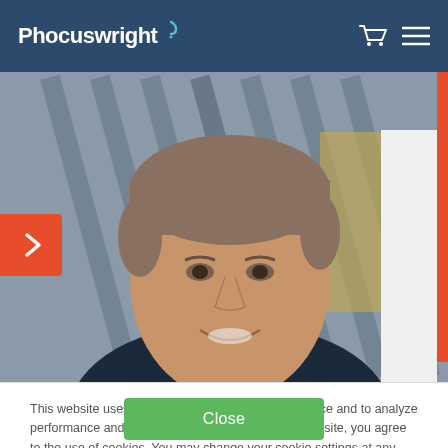Phocuswright
[Figure (photo): Headshot of a middle-aged man with grey-brown hair, wearing a dark suit, smiling slightly, with blurred architectural background]
This website uses cookies to enhance user experience and to analyze performance and traffic on our website. By using this site, you agree to the use of cookies. You may change your cookie settings at any time, but the site may not function properly. Cookie Policy
Close